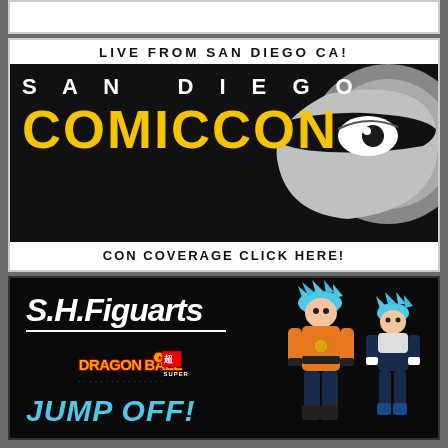[Figure (illustration): Partial top white strip with faint content visible]
[Figure (infographic): San Diego Comic-Con banner: top bar 'LIVE FROM SAN DIEGO CA!', black center with 'SAN DIEGO COMICCON' text and eye mascot logo, bottom bar 'CON COVERAGE CLICK HERE!']
[Figure (infographic): S.H. Figuarts Dragon Ball Super advertisement with logos and action figures of Goku and Vegeta with blue Super Saiyan hair, text JUMP OFF!]